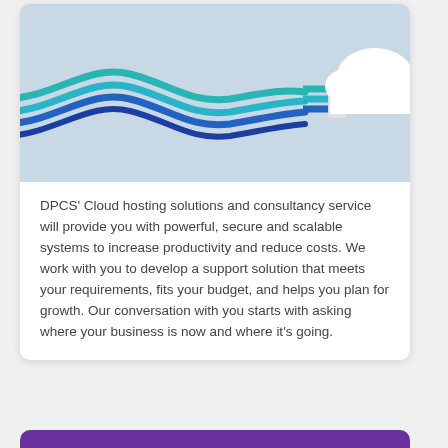[Figure (illustration): Cloud computing illustration: a white cloud icon with cables/wires connecting to it in teal and blue colors, on a light blue-grey background.]
DPCS' Cloud hosting solutions and consultancy service will provide you with powerful, secure and scalable systems to increase productivity and reduce costs. We work with you to develop a support solution that meets your requirements, fits your budget, and helps you plan for growth. Our conversation with you starts with asking where your business is now and where it's going.